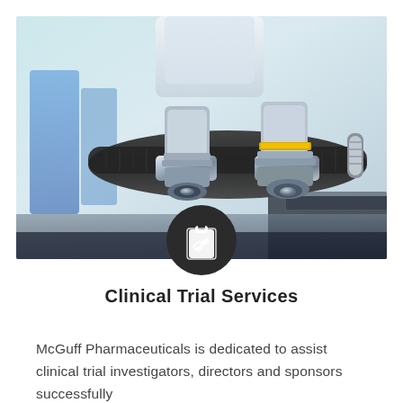[Figure (photo): Close-up photo of a laboratory microscope with metallic objective lenses, one with a yellow band and one with a red band, against a blurred blue lab background]
[Figure (illustration): Dark circular icon containing a white clipboard with a pill/capsule symbol on it]
Clinical Trial Services
McGuff Pharmaceuticals is dedicated to assist clinical trial investigators, directors and sponsors successfully